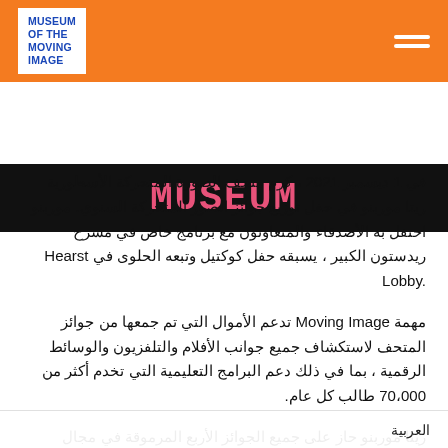MUSEUM OF THE MOVING IMAGE
[Figure (illustration): Black banner with pink/red pixel-style text reading MUSEUM]
في 1 ديسمبر 2021 ، كرم متحف الصورة المتحركة الأسطورية ريتا موربنو في حفل توزيع جوائز الصور المتحركة السنوي. موربنو احتفل به الأصدقاء والمتعاونون مع برنامج خاص في مسرح ريدستون الكبير ، يسبقه حفل كوكتيل وتبعه الحلوى في Hearst Lobby.
مهمة Moving Image تدعم الأموال التي تم جمعها من جوائز المتحف لاستكشاف جميع جوانب الأفلام والتلفزيون والوسائط الرقمية ، بما في ذلك دعم البرامج التعليمية التي تخدم أكثر من 70،000 طالب كل عام.
ريتا موربنو حاز على جميع الجوائز الأربع المرموقة في مجال الأعمال الاستعراضية: جائزة الأوسكار وجائزة تونمبو حائزتي إيمي وجرامي. امتدت اعتماداتها التي لا تعد ولا تحصى من